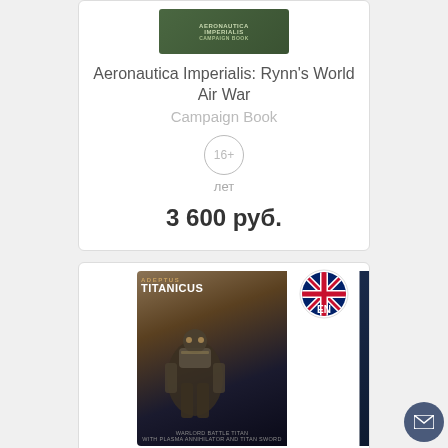[Figure (photo): Aeronautica Imperialis: Rynn's World Air War Campaign Book product box image (top portion cut off)]
Aeronautica Imperialis: Rynn's World Air War Campaign Book
[Figure (other): 16+ age rating badge circle]
лет
3 600 руб.
[Figure (photo): Adeptus Titanicus Warlord Titan with Plasma product box image with EN language flag badge]
Adeptus Titanicus Warlord Titan with Plasma